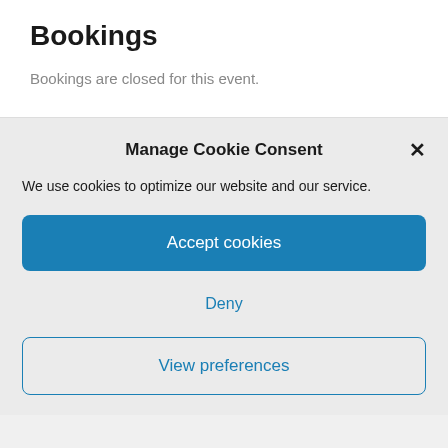Bookings
Bookings are closed for this event.
Manage Cookie Consent
We use cookies to optimize our website and our service.
Accept cookies
Deny
View preferences